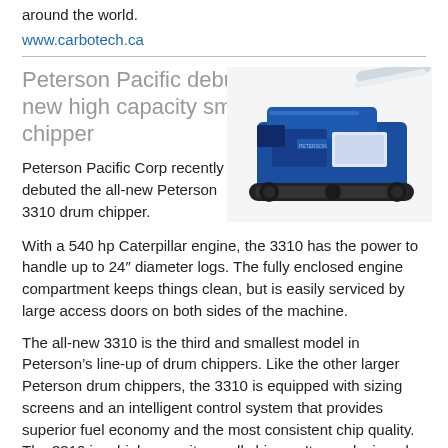around the world.
www.carbotech.ca
Peterson Pacific debuts new high capacity small chipper
[Figure (photo): Blue Peterson 3310 drum chipper machine on tracks with a discharge chute, shown on a white background.]
Peterson Pacific Corp recently debuted the all-new Peterson 3310 drum chipper.
With a 540 hp Caterpillar engine, the 3310 has the power to handle up to 24″ diameter logs. The fully enclosed engine compartment keeps things clean, but is easily serviced by large access doors on both sides of the machine.
The all-new 3310 is the third and smallest model in Peterson’s line-up of drum chippers. Like the other larger Peterson drum chippers, the 3310 is equipped with sizing screens and an intelligent control system that provides superior fuel economy and the most consistent chip quality. The 3310 is a high capacity small chipper. It was designed for biomass energy producers around the world that will benefit from the efficient feeding and